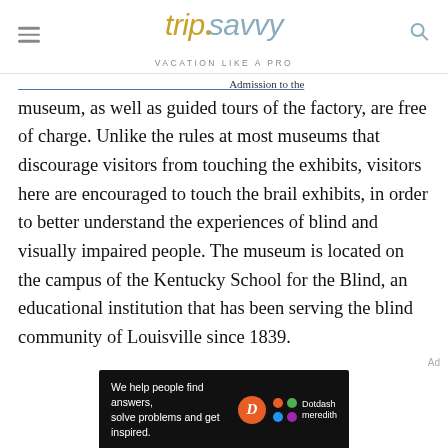tripsavvy VACATION LIKE A PRO
museum, as well as guided tours of the factory, are free of charge. Unlike the rules at most museums that discourage visitors from touching the exhibits, visitors here are encouraged to touch the brail exhibits, in order to better understand the experiences of blind and visually impaired people. The museum is located on the campus of the Kentucky School for the Blind, an educational institution that has been serving the blind community of Louisville since 1839.
[Figure (screenshot): Dotdash Meredith advertisement banner: 'We help people find answers, solve problems and get inspired.']